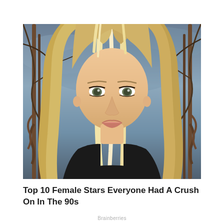[Figure (photo): Close-up photo of a young blonde woman with long straight hair parted in the middle, green eyes, subtle makeup, wearing a dark top. Background shows a dark cloudy sky with wrought-iron gate decorations and bare tree branches.]
Top 10 Female Stars Everyone Had A Crush On In The 90s
Brainberries